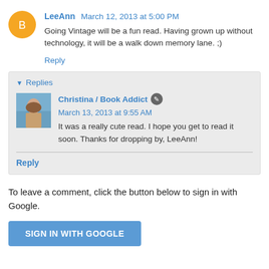LeeAnn March 12, 2013 at 5:00 PM
Going Vintage will be a fun read. Having grown up without technology, it will be a walk down memory lane. ;)
Reply
▼ Replies
Christina / Book Addict ✎ March 13, 2013 at 9:55 AM
It was a really cute read. I hope you get to read it soon. Thanks for dropping by, LeeAnn!
Reply
To leave a comment, click the button below to sign in with Google.
SIGN IN WITH GOOGLE